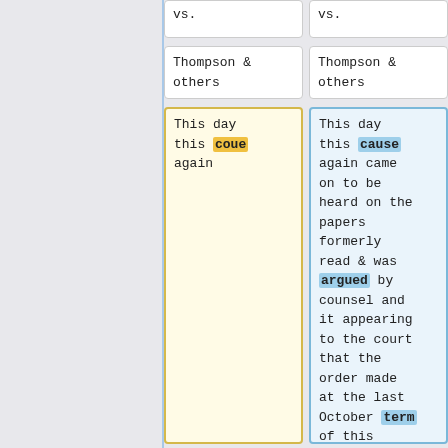vs.
vs.
Thompson & others
Thompson & others
This day this coue again
This day this cause again came on to be heard on the papers formerly read & was argued by counsel and it appearing to the court that the order made at the last October term of this court